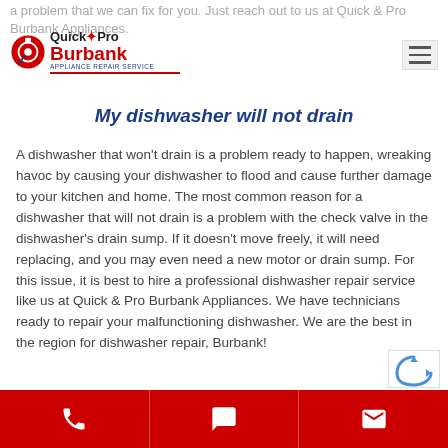a problem that we can fix for you. Just reach out to us at Quick & Pro Burbank Appliances.
[Figure (logo): Quick Pro Burbank Appliances logo with wrench icon and red/blue text]
My dishwasher will not drain
A dishwasher that won’t drain is a problem ready to happen, wreaking havoc by causing your dishwasher to flood and cause further damage to your kitchen and home. The most common reason for a dishwasher that will not drain is a problem with the check valve in the dishwasher’s drain sump. If it doesn’t move freely, it will need replacing, and you may even need a new motor or drain sump. For this issue, it is best to hire a professional dishwasher repair service like us at Quick & Pro Burbank Appliances. We have technicians ready to repair your malfunctioning dishwasher. We are the best in the region for dishwasher repair, Burbank!
Phone | Chat | Email